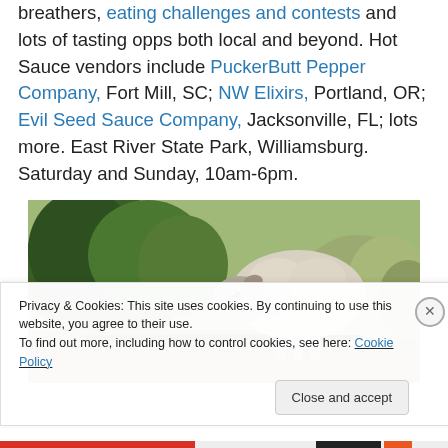breathers, eating challenges and contests and lots of tasting opps both local and beyond. Hot Sauce vendors include PuckerButt Pepper Company, Fort Mill, SC; NW Elixirs, Portland, OR; Evil Seed Sauce Company, Jacksonville, FL; lots more. East River State Park, Williamsburg. Saturday and Sunday, 10am-6pm.
[Figure (photo): A sheep resting outdoors among green shrubs and dry grass vegetation.]
Privacy & Cookies: This site uses cookies. By continuing to use this website, you agree to their use.
To find out more, including how to control cookies, see here: Cookie Policy